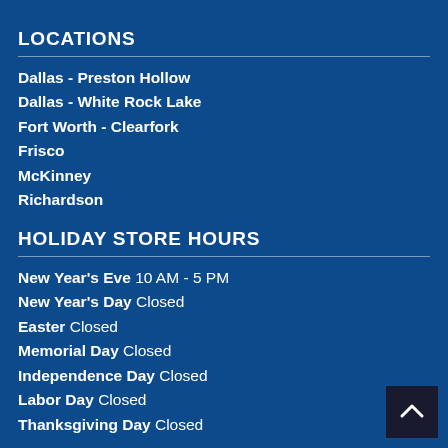LOCATIONS
Dallas - Preston Hollow
Dallas - White Rock Lake
Fort Worth - Clearfork
Frisco
McKinney
Richardson
HOLIDAY STORE HOURS
New Year's Eve 10 AM - 5 PM
New Year's Day Closed
Easter Closed
Memorial Day Closed
Independence Day Closed
Labor Day Closed
Thanksgiving Day Closed